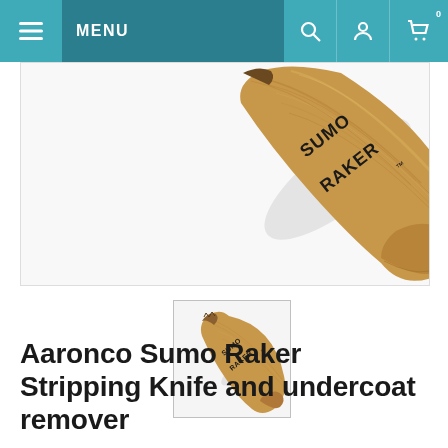MENU
[Figure (photo): Close-up of a Sumo Raker stripping knife with wooden handle, showing the carved wood grain and 'SUMO RAKER' text branded on the handle, angled diagonally]
[Figure (photo): Thumbnail image of the full Aaronco Sumo Raker stripping knife and undercoat remover tool with wooden handle]
Aaronco Sumo Raker Stripping Knife and undercoat remover